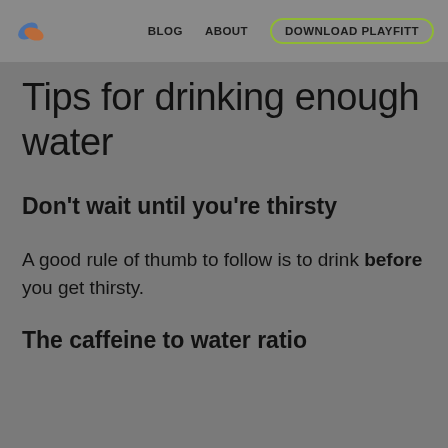BLOG   ABOUT   DOWNLOAD PLAYFITT
Tips for drinking enough water
Don't wait until you're thirsty
A good rule of thumb to follow is to drink before you get thirsty.
The caffeine to water ratio